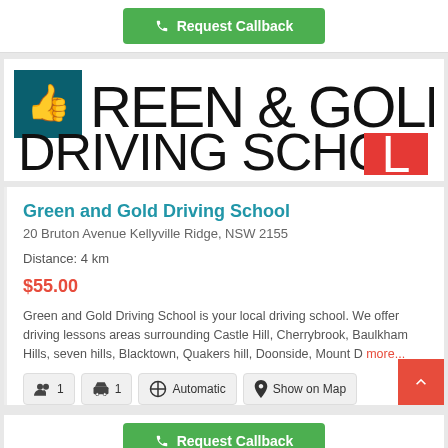[Figure (screenshot): Request Callback button at top of page with phone icon on green background]
[Figure (logo): Green and Gold Driving School logo with teal square, thumbs up icon, black distressed text, and red L plate letter]
Green and Gold Driving School
20 Bruton Avenue Kellyville Ridge, NSW 2155
Distance: 4 km
$55.00
Green and Gold Driving School is your local driving school. We offer driving lessons areas surrounding Castle Hill, Cherrybrook, Baulkham Hills, seven hills, Blacktown, Quakers hill, Doonside, Mount D more...
1 instructor
1 car
Automatic
Show on Map
[Figure (screenshot): Request Callback button at bottom of page with phone icon on green background]